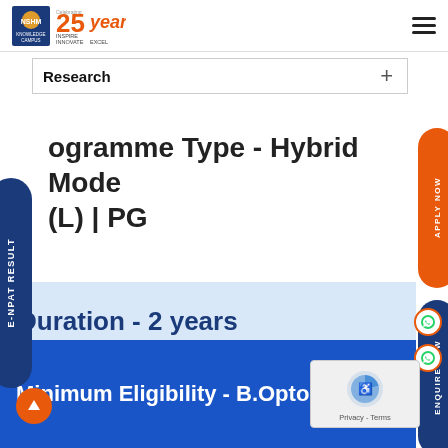[Figure (logo): NSHM Knowledge Campus logo with 25 years celebration badge and Inspire Innovate Excel tagline]
Research +
E-NPAT RESULT
APPLY NOW
ENQUIRE NOW
ogramme Type - Hybrid Mode (L) | PG
Duration - 2 years
Minimum Eligibility - B.Optom